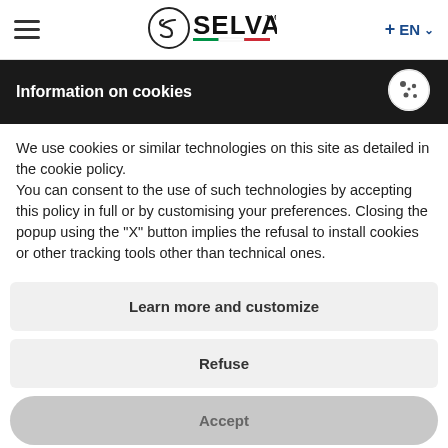[Figure (logo): Selva brand logo with circular emblem and SELVA wordmark, Italian flag stripe underline]
≡  SELVA  + EN ∨
Information on cookies
We use cookies or similar technologies on this site as detailed in the cookie policy.
You can consent to the use of such technologies by accepting this policy in full or by customising your preferences. Closing the popup using the "X" button implies the refusal to install cookies or other tracking tools other than technical ones.
Learn more and customize
Refuse
Accept